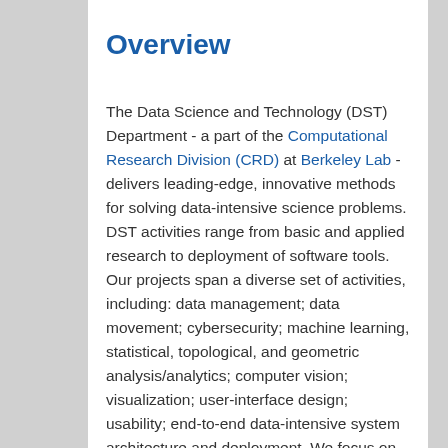Overview
The Data Science and Technology (DST) Department - a part of the Computational Research Division (CRD) at Berkeley Lab - delivers leading-edge, innovative methods for solving data-intensive science problems. DST activities range from basic and applied research to deployment of software tools. Our projects span a diverse set of activities, including: data management; data movement; cybersecurity; machine learning, statistical, topological, and geometric analysis/analytics; computer vision; visualization; user-interface design; usability; end-to-end data-intensive system architecture and deployment. We focus on conceiving, developing, and applying leading-edge, innovative methods for solving data-intensive science problems. Our multidisciplinary teams are engaged